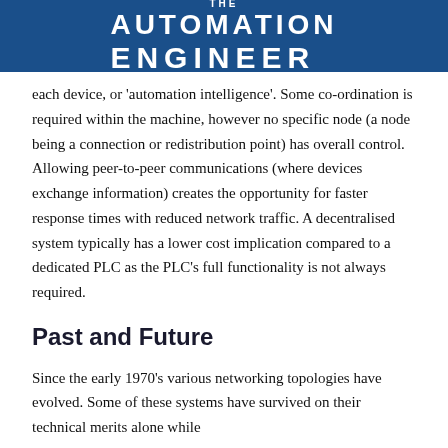THE AUTOMATION ENGINEER
each device, or 'automation intelligence'. Some co-ordination is required within the machine, however no specific node (a node being a connection or redistribution point) has overall control. Allowing peer-to-peer communications (where devices exchange information) creates the opportunity for faster response times with reduced network traffic. A decentralised system typically has a lower cost implication compared to a dedicated PLC as the PLC's full functionality is not always required.
Past and Future
Since the early 1970's various networking topologies have evolved. Some of these systems have survived on their technical merits alone while